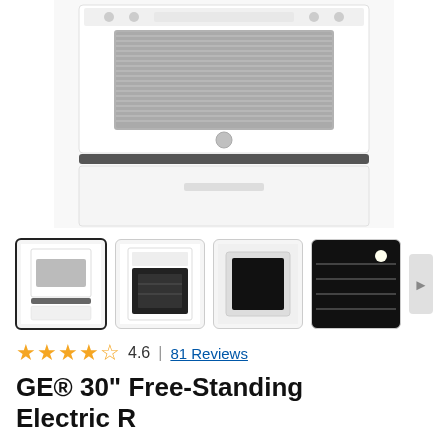[Figure (photo): Main product image of a GE white free-standing electric range, showing the top control panel, oven window with GE logo, drawer handle, and storage drawer.]
[Figure (photo): Thumbnail 1: Full view of white GE electric range (selected)]
[Figure (photo): Thumbnail 2: Open oven view of white GE electric range]
[Figure (photo): Thumbnail 3: Top-down view of range cooktop]
[Figure (photo): Thumbnail 4: Interior oven rack view]
4.6 | 81 Reviews
GE® 30" Free-Standing Electric R...